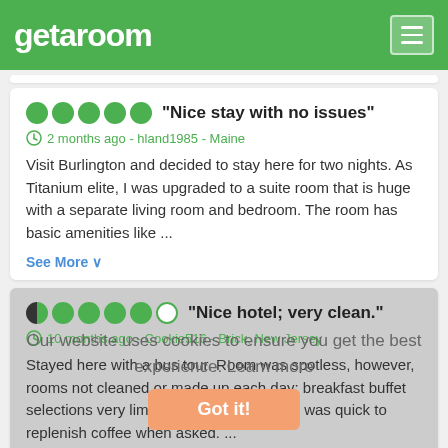getaroom
"Nice stay with no issues"
2 months ago - hland1985 - Maine
Visit Burlington and decided to stay here for two nights. As Titanium elite, I was upgraded to a suite room that is huge with a separate living room and bedroom. The room has basic amenities like ...
See More
"Nice hotel; very clean."
10 months ago - Cookie516 - Brick, New Jersey
Stayed here with a bus tour. Room was spotless, however, rooms not cleaned or made up each day; breakfast buffet selections very limited due to Covid. Staff was quick to replenish coffee when asked. ...
See More
Our website uses cookies to ensure you get the best experience. Learn more